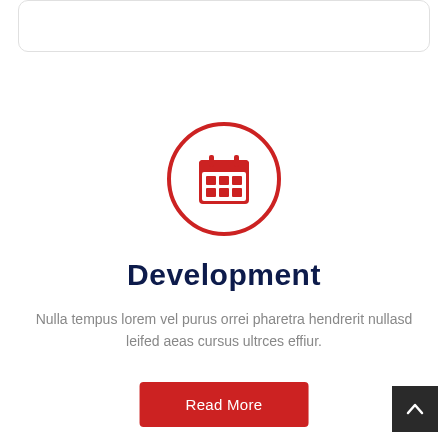[Figure (illustration): Rounded rectangle card outline at the top of the page]
[Figure (illustration): Red circle outline containing a red calendar icon with a grid of 6 squares]
Development
Nulla tempus lorem vel purus orrei pharetra hendrerit nullasd leifed aeas cursus ultrces effiur.
Read More
[Figure (illustration): Dark grey square button with upward-pointing chevron arrow in the bottom-right corner]